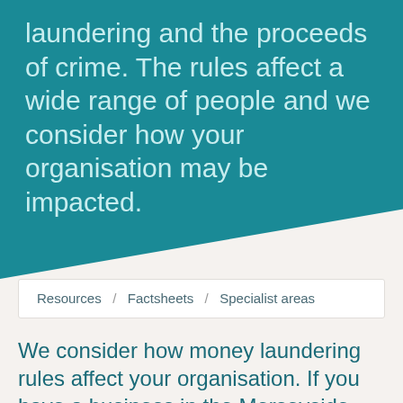laundering and the proceeds of crime. The rules affect a wide range of people and we consider how your organisation may be impacted.
Resources / Factsheets / Specialist areas
We consider how money laundering rules affect your organisation. If you have a business in the Merseyside area we, at MJF Accountancy, can assist on a